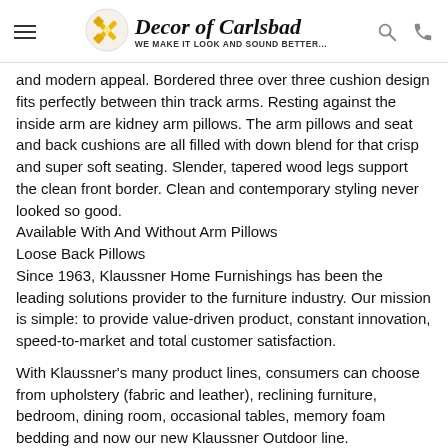Decor of Carlsbad — WE MAKE IT LOOK AND SOUND BETTER...
and modern appeal. Bordered three over three cushion design fits perfectly between thin track arms. Resting against the inside arm are kidney arm pillows. The arm pillows and seat and back cushions are all filled with down blend for that crisp and super soft seating. Slender, tapered wood legs support the clean front border. Clean and contemporary styling never looked so good.
Available With And Without Arm Pillows
Loose Back Pillows
Since 1963, Klaussner Home Furnishings has been the leading solutions provider to the furniture industry. Our mission is simple: to provide value-driven product, constant innovation, speed-to-market and total customer satisfaction.

With Klaussner's many product lines, consumers can choose from upholstery (fabric and leather), reclining furniture, bedroom, dining room, occasional tables, memory foam bedding and now our new Klaussner Outdoor line.